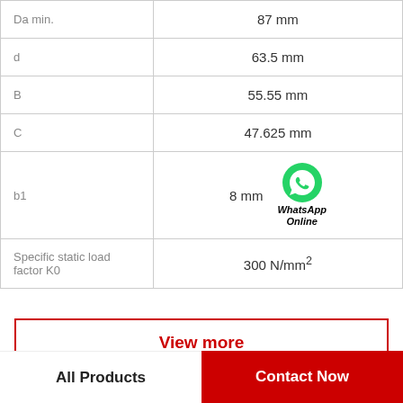| Parameter | Value |
| --- | --- |
| Da min. | 87 mm |
| d | 63.5 mm |
| B | 55.55 mm |
| C | 47.625 mm |
| b1 | 8 mm |
| Specific static load factor K0 | 300 N/mm² |
View more
Cross Profile
All Products
Contact Now